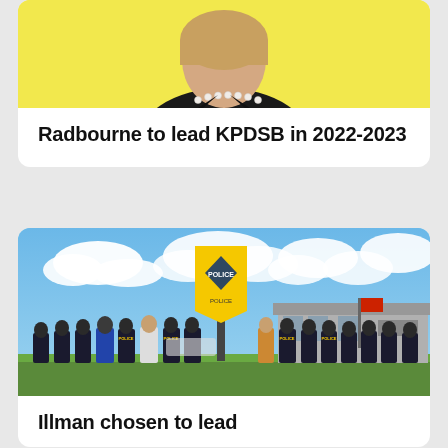[Figure (photo): Portrait photo of a woman in a black blazer with a pearl necklace, yellow background, cropped at torso level.]
Radbourne to lead KPDSB in 2022-2023
[Figure (photo): Group of police officers in dark uniforms standing outdoors in front of a yellow police sign on a pole, blue sky with clouds, building in background.]
Illman chosen to lead